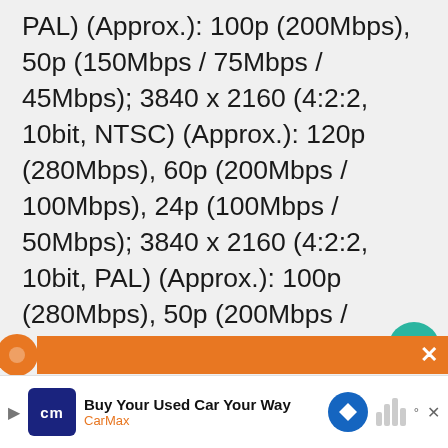PAL) (Approx.): 100p (200Mbps), 50p (150Mbps / 75Mbps / 45Mbps); 3840 x 2160 (4:2:2, 10bit, NTSC) (Approx.): 120p (280Mbps), 60p (200Mbps / 100Mbps), 24p (100Mbps / 50Mbps); 3840 x 2160 (4:2:2, 10bit, PAL) (Approx.): 100p (280Mbps), 50p (200Mbps / 100Mbps)
4K Video (XAVC S): 3840 x 2160 (4:2:0, 8bit, NTSC) (Approx.): 120p (200Mbps), 60p (150Mbps), 30p (100Mbps / 60Mbps), 24p (100Mbps / 60Mbps); 3840 x 2160 (4:2:0, 8bit, PAL) (Approx.): 100p (200Mbps), 50p
[Figure (screenshot): What's Next overlay with camera image and text 'Best cameras for beginner...']
[Figure (screenshot): Advertisement bar: CarMax 'Buy Your Used Car Your Way' with logo and navigation icon]